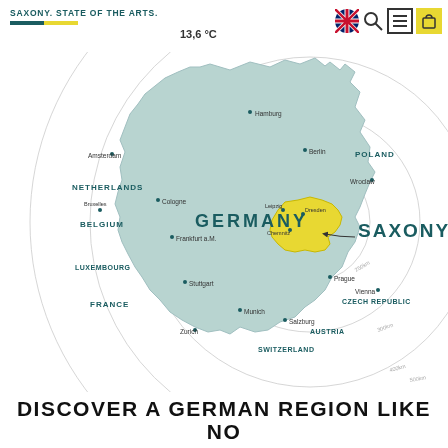SAXONY. STATE OF THE ARTS.
13,6 °C
[Figure (map): Map of Germany and surrounding countries with Saxony highlighted in yellow. Concentric circles centered on Saxony showing distances. Neighboring countries labeled: Netherlands, Belgium, Luxembourg, France, Switzerland, Austria, Czech Republic, Poland. Cities labeled: Hamburg, Berlin, Cologne, Frankfurt a.M., Stuttgart, Munich, Salzburg, Zurich, Prague, Vienna, Wroclaw, Amsterdam. Saxony cities: Leipzig, Dresden, Chemnitz. The label GERMANY appears on the map body and SAXONY appears to the right.]
DISCOVER A GERMAN REGION LIKE NO